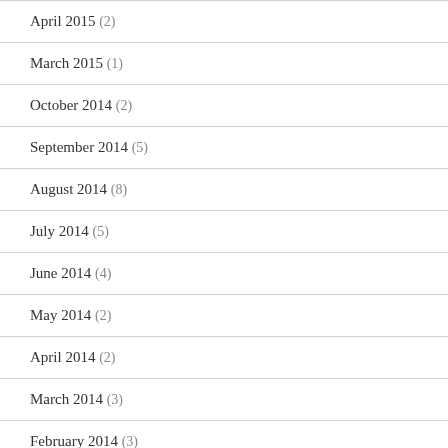April 2015 (2)
March 2015 (1)
October 2014 (2)
September 2014 (5)
August 2014 (8)
July 2014 (5)
June 2014 (4)
May 2014 (2)
April 2014 (2)
March 2014 (3)
February 2014 (3)